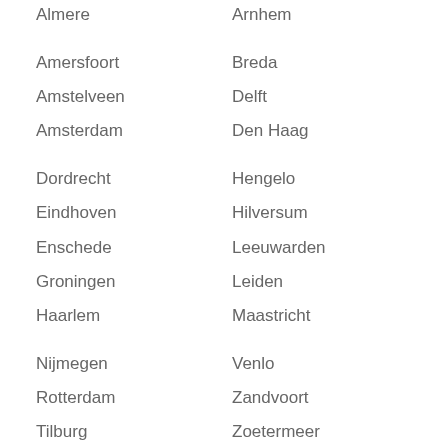Almere
Arnhem
Amersfoort
Breda
Amstelveen
Delft
Amsterdam
Den Haag
Dordrecht
Hengelo
Eindhoven
Hilversum
Enschede
Leeuwarden
Groningen
Leiden
Haarlem
Maastricht
Nijmegen
Venlo
Rotterdam
Zandvoort
Tilburg
Zoetermeer
Utrecht (partial)
Zwolle (partial)